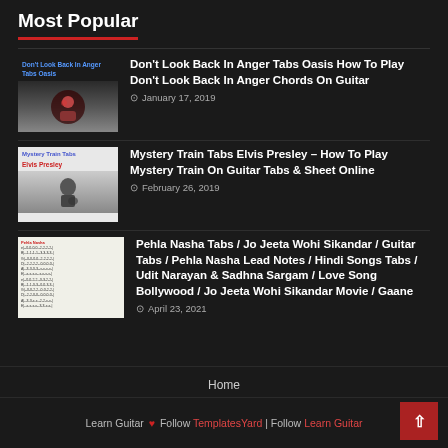Most Popular
Don't Look Back In Anger Tabs Oasis How To Play Don't Look Back In Anger Chords On Guitar — January 17, 2019
Mystery Train Tabs Elvis Presley – How To Play Mystery Train On Guitar Tabs & Sheet Online — February 26, 2019
Pehla Nasha Tabs / Jo Jeeta Wohi Sikandar / Guitar Tabs / Pehla Nasha Lead Notes / Hindi Songs Tabs / Udit Narayan & Sadhna Sargam / Love Song Bollywood / Jo Jeeta Wohi Sikandar Movie / Gaane — April 23, 2021
Home
Learn Guitar ❤ Follow TemplatesYard | Follow Learn Guitar